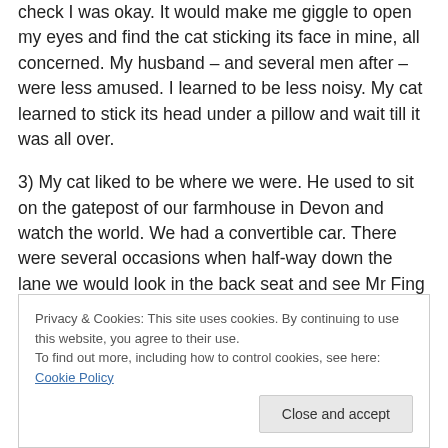check I was okay. It would make me giggle to open my eyes and find the cat sticking its face in mine, all concerned. My husband – and several men after – were less amused. I learned to be less noisy. My cat learned to stick its head under a pillow and wait till it was all over.
3) My cat liked to be where we were. He used to sit on the gatepost of our farmhouse in Devon and watch the world. We had a convertible car. There were several occasions when half-way down the lane we would look in the back seat and see Mr Fing sitting there all cool as a cucumber having jumped in as we drove out.
Privacy & Cookies: This site uses cookies. By continuing to use this website, you agree to their use. To find out more, including how to control cookies, see here: Cookie Policy